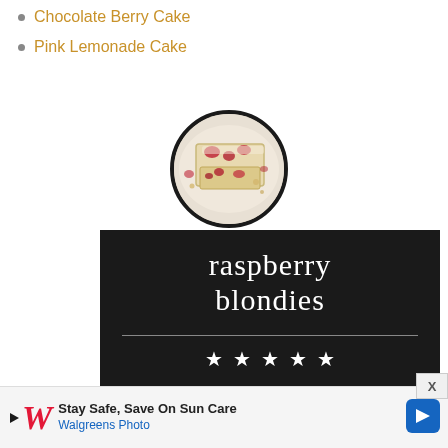Chocolate Berry Cake
Pink Lemonade Cake
[Figure (photo): Circular photo of raspberry blondies - baked bar cookies with raspberry swirls on white background, shown from above]
raspberry blondies
[Figure (other): Five white star rating icons on dark background]
Stay Safe, Save On Sun Care Walgreens Photo (advertisement banner)